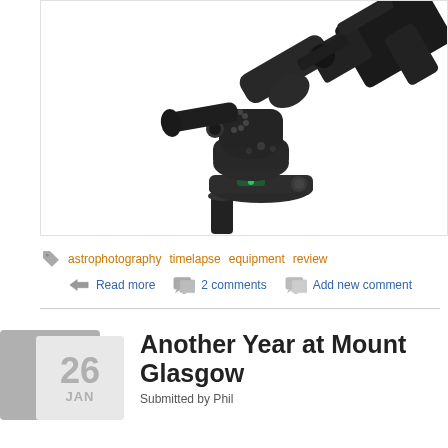[Figure (photo): A motorized equatorial telescope mount (iOptron or similar) with a DSLR camera attached, shown against a white background. The mount is black and features a polar scope, counterweight shaft area, and a camera mounted at an angle.]
astrophotography   timelapse   equipment   review
Read more    2 comments    Add new comment
Another Year at Mount Glasgow
Submitted by Phil